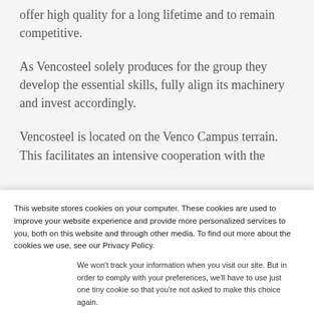offer high quality for a long lifetime and to remain competitive.
As Vencosteel solely produces for the group they develop the essential skills, fully align its machinery and invest accordingly.
Vencosteel is located on the Venco Campus terrain. This facilitates an intensive cooperation with the
This website stores cookies on your computer. These cookies are used to improve your website experience and provide more personalized services to you, both on this website and through other media. To find out more about the cookies we use, see our Privacy Policy.
We won't track your information when you visit our site. But in order to comply with your preferences, we'll have to use just one tiny cookie so that you're not asked to make this choice again.